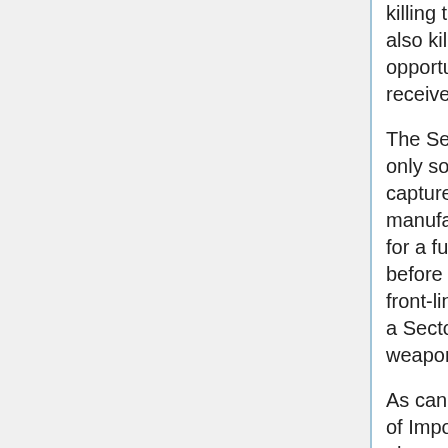killing the Sectoid performing the merge will also kill the one receiving it, giving an opportunity for a double kill (the soldier will receive the kill count and EXP for both).
The Sectoid and their Commanders are the only source of the useful Plasma Pistol (once captured, you can then research and manufacture them yourself), and if you wish for a full armament, recovery is required before both Sectoid breeds are phased out of front-line combat. Capturing and interrogating a Sectoid Soldier will provide a bonus to laser weapon research.
As cannon fodder for all but in the beginning of Impossible difficulty, Sectoids begin to be phased out a few months into the campaign. The only